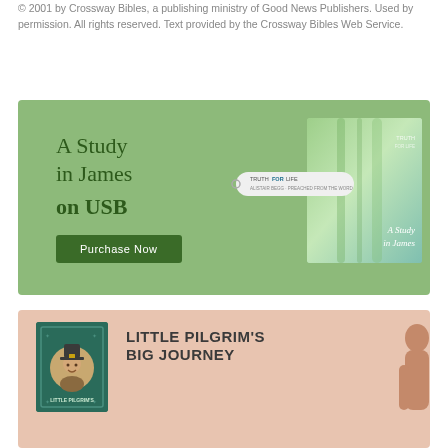© 2001 by Crossway Bibles, a publishing ministry of Good News Publishers. Used by permission. All rights reserved. Text provided by the Crossway Bibles Web Service.
[Figure (illustration): Advertisement for 'A Study in James on USB' by Truth for Life. Green background with serif text reading 'A Study in James on USB', a green Purchase Now button, a USB drive tag with Truth for Life branding, and a book/album cover with green gradient background showing 'A Study in James' text.]
[Figure (illustration): Partial advertisement for 'Little Pilgrim's Big Journey'. Peach/salmon background with a green book cover illustration on the left showing a pilgrim character, bold uppercase text 'LITTLE PILGRIM'S BIG JOURNEY' on the right, and a partial silhouette figure on the far right.]